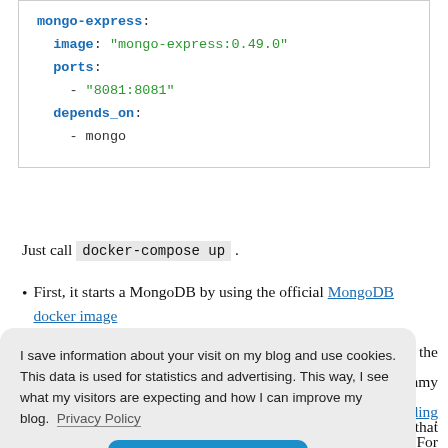mongo-express:
  image: "mongo-express:0.49.0"
  ports:
    - "8081:8081"
  depends_on:
    - mongo
Just call docker-compose up .
First, it starts a MongoDB by using the official MongoDB docker image
I save information about your visit on my blog and use cookies. This data is used for statistics and advertising. This way, I see what my visitors are expecting and how I can improve my blog. Privacy Policy
OK
further configuration options see the image